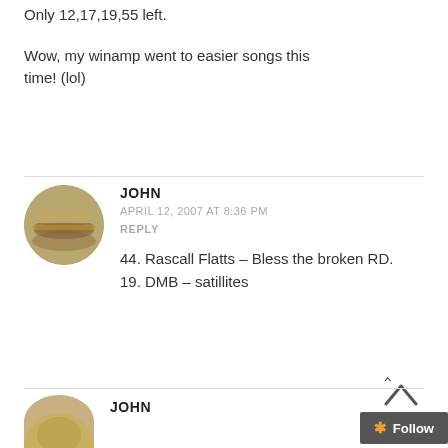Only 12,17,19,55 left.

Wow, my winamp went to easier songs this time! (lol)
JOHN
APRIL 12, 2007 AT 8:36 PM
REPLY
44. Rascall Flatts – Bless the broken RD.
19. DMB – satillites
[Figure (photo): Circular avatar showing a close-up of a ring on a surface]
JOHN
[Figure (photo): Partial circular avatar showing a golden/olive colored object, cropped at bottom]
Follow